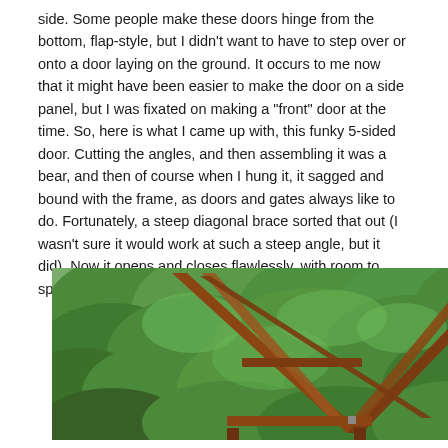side. Some people make these doors hinge from the bottom, flap-style, but I didn't want to have to step over or onto a door laying on the ground. It occurs to me now that it might have been easier to make the door on a side panel, but I was fixated on making a "front" door at the time. So, here is what I came up with, this funky 5-sided door. Cutting the angles, and then assembling it was a bear, and then of course when I hung it, it sagged and bound with the frame, as doors and gates always like to do. Fortunately, a steep diagonal brace sorted that out (I wasn't sure it would work at such a steep angle, but it did). Now it opens and closes flawlessly, with room to spare for swelling in wet weather.
[Figure (photo): Outdoor photo showing a wooden A-frame or pergola structure made of reddish-brown lumber, with a diagonal brace visible, against a background of dense green foliage/hedge. A light grey building wall is visible on the right side.]